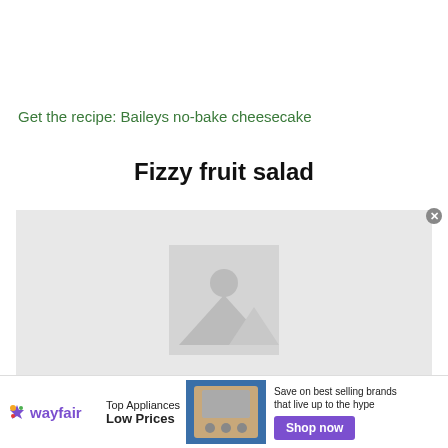Get the recipe: Baileys no-bake cheesecake
Fizzy fruit salad
[Figure (photo): Image placeholder for Fizzy fruit salad recipe with a grey placeholder thumbnail in the center]
[Figure (infographic): Wayfair advertisement banner: Top Appliances Low Prices, Save on best selling brands that live up to the hype, Shop now button, with appliance image]